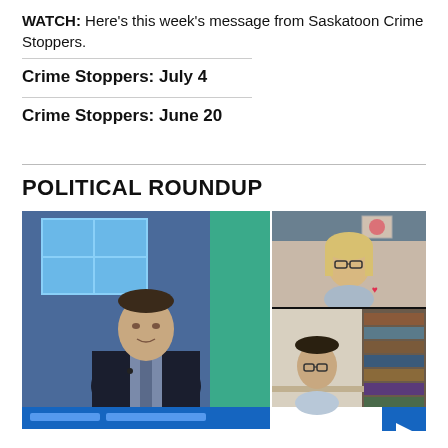WATCH: Here's this week's message from Saskatoon Crime Stoppers.
Crime Stoppers: July 4
Crime Stoppers: June 20
POLITICAL ROUNDUP
[Figure (screenshot): Video thumbnail showing a news anchor on the left and two video call participants (a blonde woman top-right and a young man with glasses bottom-right) in a political roundup broadcast.]